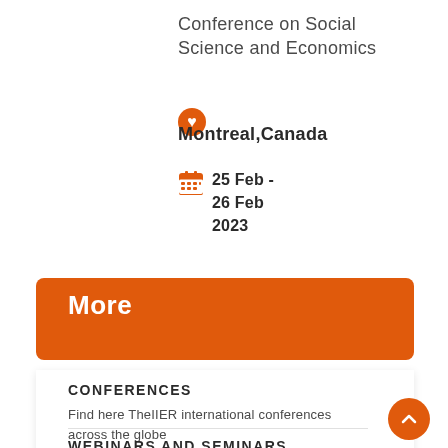Conference on Social Science and Economics
Montreal,Canada
25 Feb - 26 Feb 2023
More
CONFERENCES
Find here TheIIER international conferences across the globe
WEBINARS AND SEMINARS